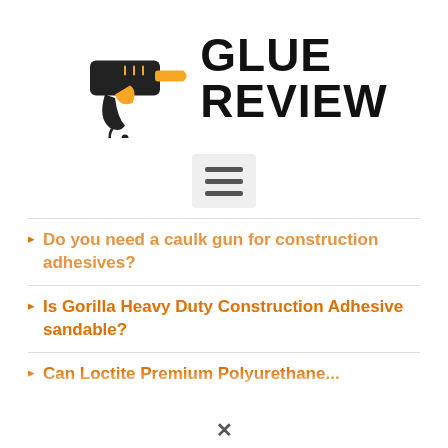[Figure (logo): Glue Review website logo: a black and orange glue gun illustration next to bold black text reading GLUE REVIEW]
[Figure (other): Hamburger menu button — three horizontal lines on a light grey rounded rectangle background]
Do you need a caulk gun for construction adhesives?
Is Gorilla Heavy Duty Construction Adhesive sandable?
Can Loctite Premium Polyurethane...